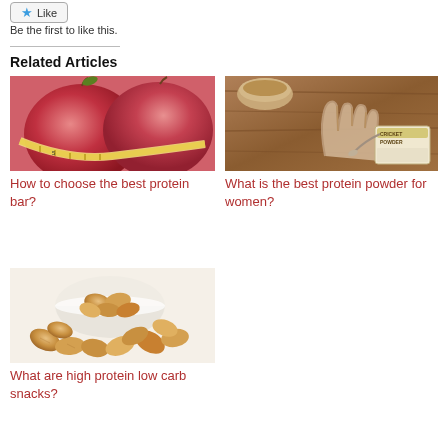[Figure (screenshot): Like button with star icon]
Be the first to like this.
Related Articles
[Figure (photo): Red apples with measuring tape wrapped around them]
How to choose the best protein bar?
[Figure (photo): Hand and cricket powder supplement bag on wooden surface]
What is the best protein powder for women?
[Figure (photo): Almonds in a white bowl and scattered on surface]
What are high protein low carb snacks?